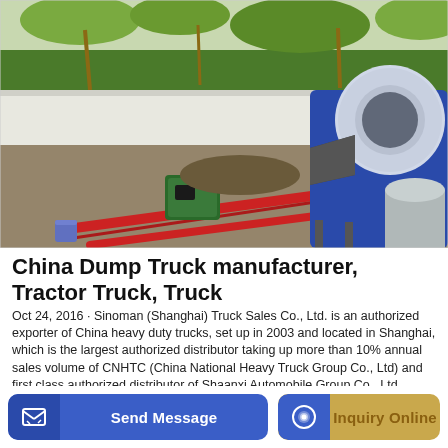[Figure (photo): Outdoor construction site photo showing a blue and white concrete mixer/pump machine on the right with a large cylindrical drum and hopper, red pipes running across a gravel ground toward green machinery on the left, palm trees and a white fence wall in the background under a cloudy sky.]
China Dump Truck manufacturer, Tractor Truck, Truck
Oct 24, 2016 · Sinoman (Shanghai) Truck Sales Co., Ltd. is an authorized exporter of China heavy duty trucks, set up in 2003 and located in Shanghai, which is the largest authorized distributor taking up more than 10% annual sales volume of CNHTC (China National Heavy Truck Group Co., Ltd) and first class authorized distributor of Shaanxi Automobile Group Co., Ltd.